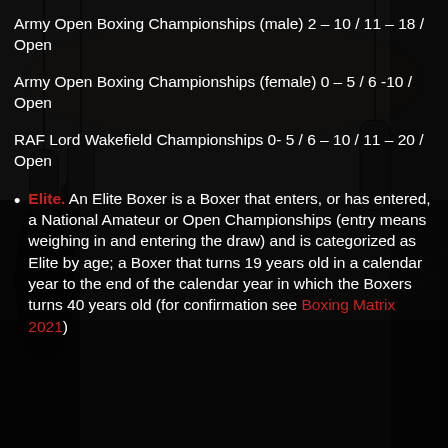[Figure (photo): Dark background photo of a boxing gym interior with punching bags and boxing ring, dimly lit]
Army Open Boxing Championships (male) 2 – 10 / 11 – 18 / Open
Army Open Boxing Championships (female) 0 – 5 / 6 -10 / Open
RAF Lord Wakefield Championships 0- 5 / 6 – 10 / 11 – 20 / Open
Elite. An Elite Boxer is a Boxer that enters, or has entered, a National Amateur or Open Championships (entry means weighing in and entering the draw) and is categorized as Elite by age; a Boxer that turns 19 years old in a calendar year to the end of the calendar year in which the Boxers turns 40 years old (for confirmation see Boxing Matrix 2021)